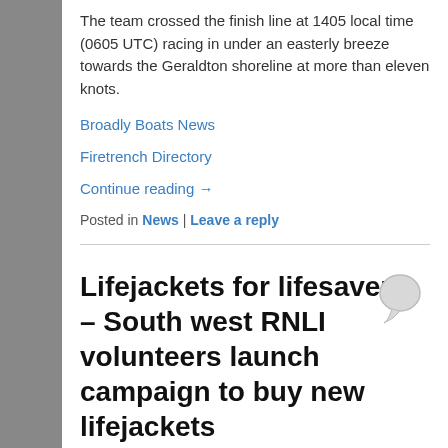The team crossed the finish line at 1405 local time (0605 UTC) racing in under an easterly breeze towards the Geraldton shoreline at more than eleven knots.
Broadly Boats News
Firetrench Directory
Continue reading →
Posted in News | Leave a reply
Lifejackets for lifesavers – South west RNLI volunteers launch campaign to buy new lifejackets